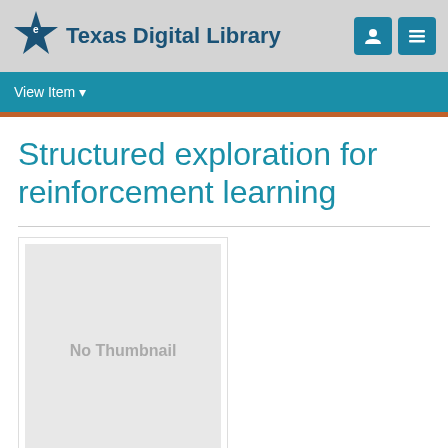Texas Digital Library
View Item
Structured exploration for reinforcement learning
[Figure (other): No Thumbnail placeholder image — a light gray rectangle with the text 'No Thumbnail' in the center]